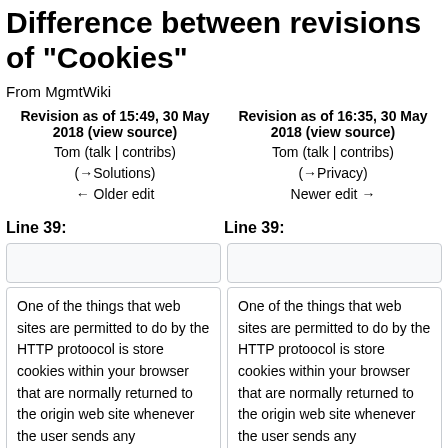Difference between revisions of "Cookies"
From MgmtWiki
Revision as of 15:49, 30 May 2018 (view source)
Tom (talk | contribs)
(→Solutions)
← Older edit
Revision as of 16:35, 30 May 2018 (view source)
Tom (talk | contribs)
(→Privacy)
Newer edit →
Line 39:
Line 39:
One of the things that web sites are permitted to do by the HTTP protoocol is store cookies within your browser that are normally returned to the origin web site whenever the user sends any
One of the things that web sites are permitted to do by the HTTP protoocol is store cookies within your browser that are normally returned to the origin web site whenever the user sends any